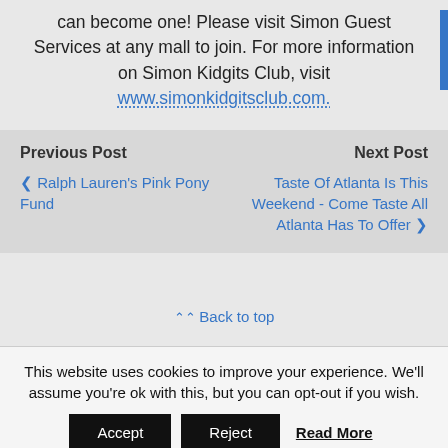can become one!  Please visit Simon Guest Services at any mall to join. For more information on Simon Kidgits Club, visit www.simonkidgitsclub.com.
Previous Post
❮ Ralph Lauren's Pink Pony Fund
Next Post
Taste Of Atlanta Is This Weekend - Come Taste All Atlanta Has To Offer ❯
⌃⌃ Back to top
This website uses cookies to improve your experience. We'll assume you're ok with this, but you can opt-out if you wish.
Accept   Reject   Read More